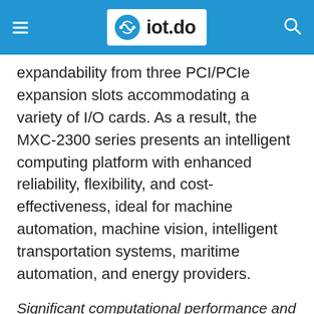iot.do
expandability from three PCI/PCIe expansion slots accommodating a variety of I/O cards. As a result, the MXC-2300 series presents an intelligent computing platform with enhanced reliability, flexibility, and cost-effectiveness, ideal for machine automation, machine vision, intelligent transportation systems, maritime automation, and energy providers.
Significant computational performance and energy efficiency
The latest Intel® Atom™ processor E3845 system-on-chip (SoC) kicks up performance and cost